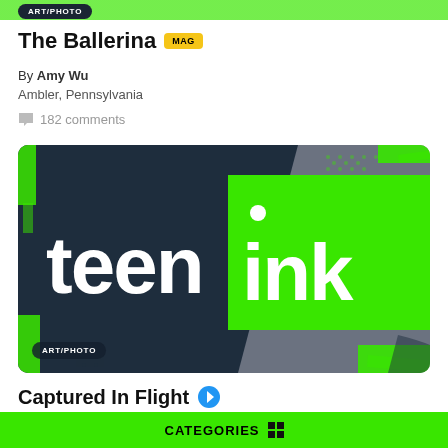ART/PHOTO
The Ballerina MAG
By Amy Wu
Ambler, Pennsylvania
182 comments
[Figure (logo): Teen Ink logo with 'teen' on dark navy background and 'ink' on bright green background, with green brush stroke decorations]
ART/PHOTO
Captured In Flight
CATEGORIES